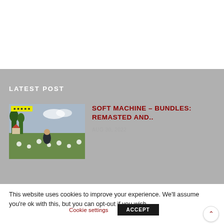LATEST POST
[Figure (illustration): Album cover artwork showing a pastoral scene with a figure in a field of flowers. Yellow tag label overlay in top-left corner.]
SOFT MACHINE – BUNDLES: REMASTED AND..
AUG 30, 2022
This website uses cookies to improve your experience. We'll assume you're ok with this, but you can opt-out if you wish.
Cookie settings
ACCEPT